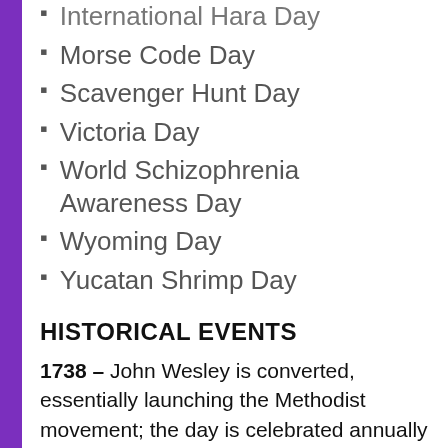International Hara Day
Morse Code Day
Scavenger Hunt Day
Victoria Day
World Schizophrenia Awareness Day
Wyoming Day
Yucatan Shrimp Day
HISTORICAL EVENTS
1738 – John Wesley is converted, essentially launching the Methodist movement; the day is celebrated annually by Methodists as Aldersgate Day and a church service is generally held on the preceding Sunday.
1822 – Battle of Pichincha: Antonio José de Sucre secures the independence of the